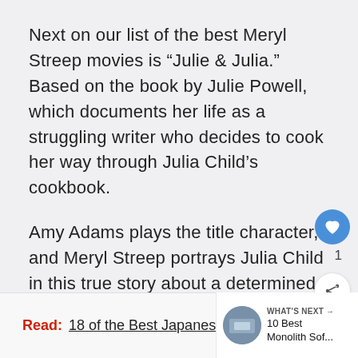Next on our list of the best Meryl Streep movies is “Julie & Julia.” Based on the book by Julie Powell, which documents her life as a struggling writer who decides to cook her way through Julia Child’s cookbook.
Amy Adams plays the title character, and Meryl Streep portrays Julia Child in this true story about a determined woman who tries to break out of her rut and make something of herself.
Read: 18 of the Best Japanese Car M...